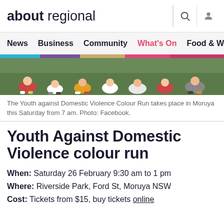about regional
News  Business  Community  What's On  Food & Wi
[Figure (photo): Children and youth sitting/kneeling on grass after a colour run, wearing colourful paint-stained clothes]
The Youth against Domestic Violence Colour Run takes place in Moruya this Saturday from 7 am. Photo: Facebook.
Youth Against Domestic Violence colour run
When: Saturday 26 February 9:30 am to 1 pm
Where: Riverside Park, Ford St, Moruya NSW
Cost: Tickets from $15, buy tickets online